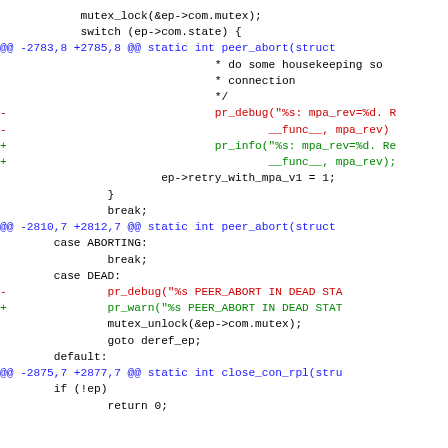[Figure (screenshot): A code diff view showing changes to C source code with unified diff format. Lines prefixed with '-' are shown in red (removed), lines prefixed with '+' are shown in green (added), diff hunk headers starting with '@@' are shown in blue, and context code is shown in black. The diff shows changes replacing pr_debug calls with pr_info and pr_warn calls in peer_abort and close_con_rpl static functions.]